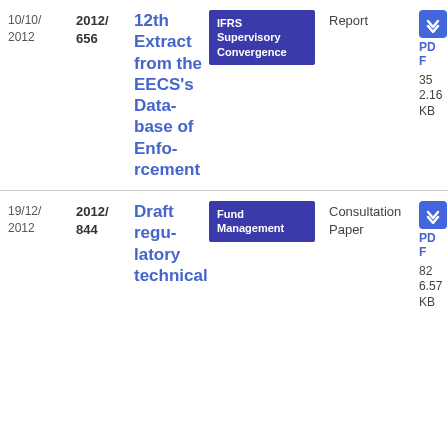| Date | Reference | Title | Topic | Type | Download |
| --- | --- | --- | --- | --- | --- |
| 10/10/2012 | 2012/656 | 12th Extract from the EECS's Database of Enforcement | IFRS Supervisory Convergence | Report | PDF 352.16 KB |
| 19/12/2012 | 2012/844 | Draft regulatory technical... | Fund Management | Consultation Paper | PDF 826.57 KB |